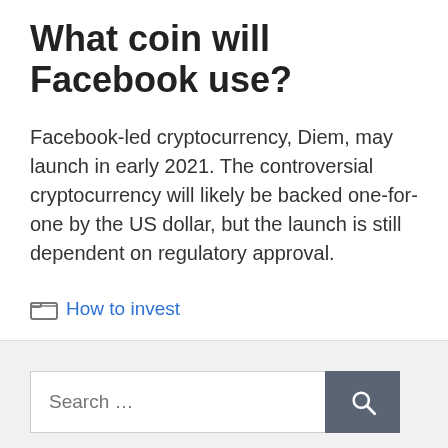What coin will Facebook use?
Facebook-led cryptocurrency, Diem, may launch in early 2021. The controversial cryptocurrency will likely be backed one-for-one by the US dollar, but the launch is still dependent on regulatory approval.
How to invest